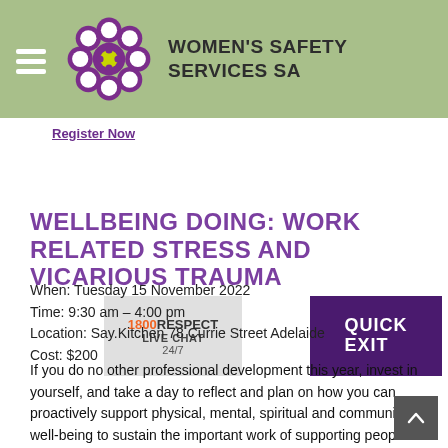[Figure (logo): Women's Safety Services SA logo with purple flower/circles pattern and yellow center, with organization name in bold sans-serif]
Register Now
[Figure (screenshot): 1800RESPECT Live Chat 24/7 badge overlaid with Quick Exit purple button]
WELLBEING DOING: WORK RELATED STRESS AND VICARIOUS TRAUMA
When: Tuesday 15 November 2022
Time: 9:30 am – 4:00 pm
Location: Say.Kitchen 78 Currie Street Adelaide
Cost: $200
If you do no other professional development this year, invest in yourself, and take a day to reflect and plan on how you can proactively support physical, mental, spiritual and community well-being to sustain the important work of supporting people impacted by trauma. Here at Women's Safety Services, we understand that well-being is a social and political issue,